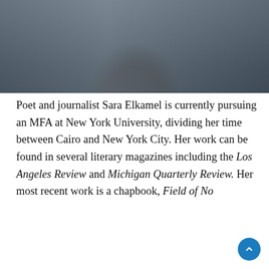[Figure (photo): Portrait photo of Sara Elkamel, a woman with curly hair wearing a sleeveless grey top, photographed outdoors with buildings in the background.]
Poet and journalist Sara Elkamel is currently pursuing an MFA at New York University, dividing her time between Cairo and New York City. Her work can be found in several literary magazines including the Los Angeles Review and Michigan Quarterly Review. Her most recent work is a chapbook, Field of No Justice, published as part of Akashic Books'